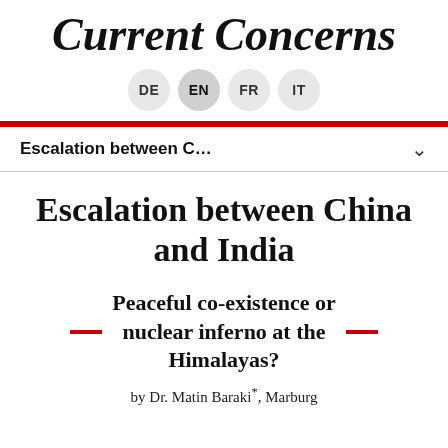Current Concerns
DE  EN  FR  IT
Escalation between C...
Escalation between China and India
Peaceful co-existence or nuclear inferno at the Himalayas?
by Dr. Matin Baraki*, Marburg